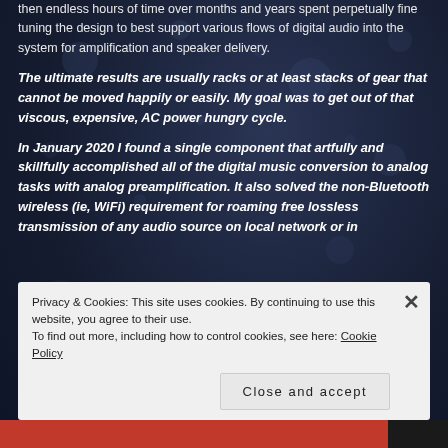then endless hours of time over months and years spent perpetually fine tuning the design to best support various flows of digital audio into the system for amplification and speaker delivery.
The ultimate results are usually racks or at least stacks of gear that cannot be moved happily or easily. My goal was to get out of that viscous, expensive, AC power hungry cycle.
In January 2020 I found a single component that artfully and skillfully accomplished all of the digital music conversion to analog tasks with analog preamplification. It also solved the non-Bluetooth wireless (ie, WiFi) requirement for roaming free lossless transmission of any audio source on local network or in
Privacy & Cookies: This site uses cookies. By continuing to use this website, you agree to their use.
To find out more, including how to control cookies, see here: Cookie Policy
Close and accept